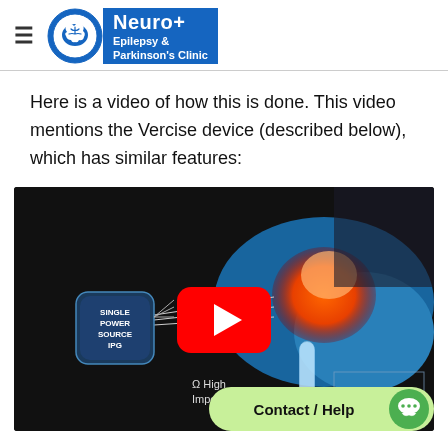Neuro+ Epilepsy & Parkinson's Clinic
Here is a video of how this is done. This video mentions the Vercise device (described below), which has similar features:
[Figure (screenshot): Medical animation video thumbnail showing a brain deep stimulation device with 'SINGLE POWER SOURCE IPG' label and electrodes, with a YouTube play button overlay. A 'Contact / Help' chat button is shown in the bottom right corner. Text on screen reads 'Ω High Impedance'.]